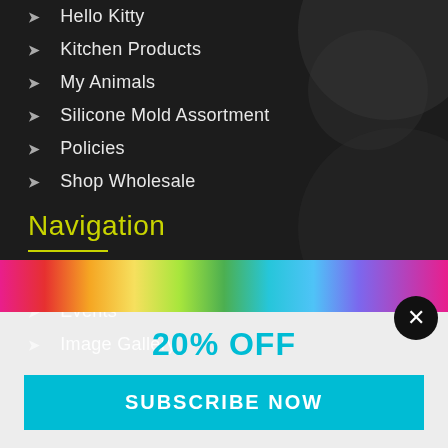Hello Kitty
Kitchen Products
My Animals
Silicone Mold Assortment
Policies
Shop Wholesale
Navigation
Home
Events
Image Gallery
20% OFF
SUBSCRIBE NOW